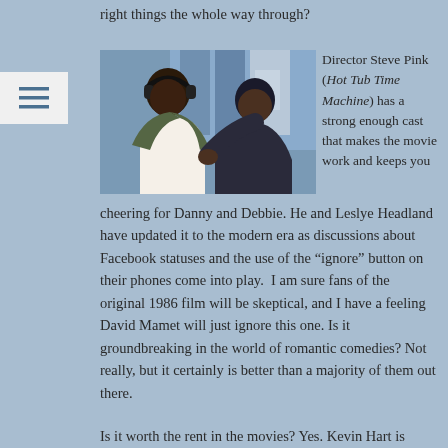right things the whole way through?
[Figure (photo): Two men sitting on a couch, one wearing headphones, appearing to have a conversation. One man in a green jacket gestures while talking to another man in a dark hoodie.]
Director Steve Pink (Hot Tub Time Machine) has a strong enough cast that makes the movie work and keeps you cheering for Danny and Debbie. He and Leslye Headland have updated it to the modern era as discussions about Facebook statuses and the use of the “ignore” button on their phones come into play.  I am sure fans of the original 1986 film will be skeptical, and I have a feeling David Mamet will just ignore this one. Is it groundbreaking in the world of romantic comedies? Not really, but it certainly is better than a majority of them out there.
Is it worth the rent in the movies? Yes. Kevin Hart is